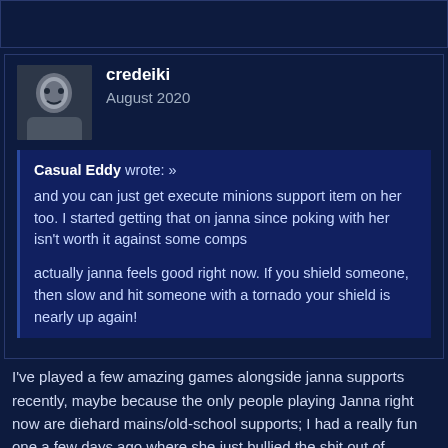[Figure (other): Top navigation bar, partially visible, dark blue background with border]
credeiki
August 2020
Casual Eddy wrote: »
and you can just get execute minions support item on her too. I started getting that on janna since poking with her isn't worth it against some comps

actually janna feels good right now. If you shield someone, then slow and hit someone with a tornado your shield is nearly up again!
I've played a few amazing games alongside janna supports recently, maybe because the only people playing Janna right now are diehard mains/old-school supports; I had a really fun one a few days ago where she just bullied the shit out of Nautilus and I just kinda followed
I'm basically not playing support at all right now, but I did just...